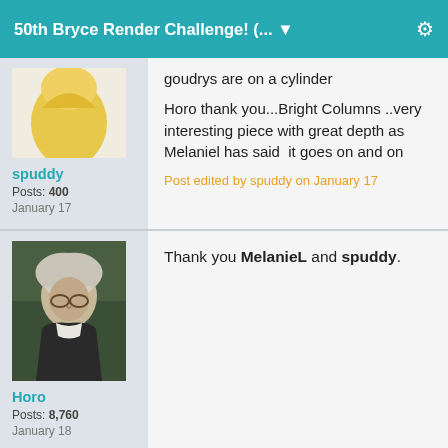50th Bryce Render Challenge! (... ▼
goudrys are on a cylinder
Horo thank you...Bright Columns ..very interesting piece with great depth as Melaniel has said  it goes on and on
Post edited by spuddy on January 17
spuddy
Posts: 400
January 17
Thank you MelanieL and spuddy.
Horo
Posts: 8,760
January 18